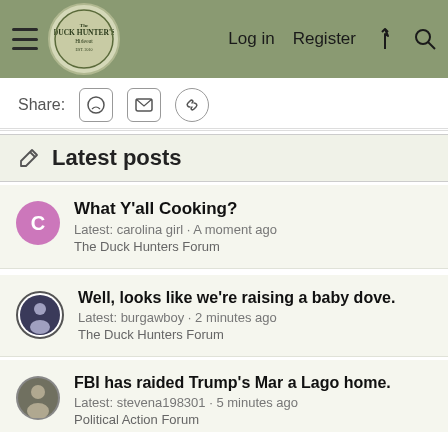Duck Hunter's Hideout — Log in  Register
Share:
Latest posts
What Y'all Cooking?
Latest: carolina girl · A moment ago
The Duck Hunters Forum
Well, looks like we're raising a baby dove.
Latest: burgawboy · 2 minutes ago
The Duck Hunters Forum
FBI has raided Trump's Mar a Lago home.
Latest: stevena198301 · 5 minutes ago
Political Action Forum